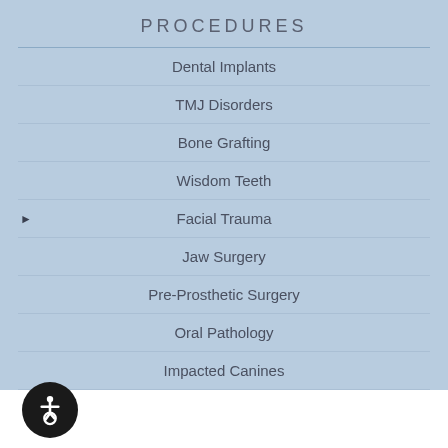PROCEDURES
Dental Implants
TMJ Disorders
Bone Grafting
Wisdom Teeth
Facial Trauma
Jaw Surgery
Pre-Prosthetic Surgery
Oral Pathology
Impacted Canines
3D Imaging